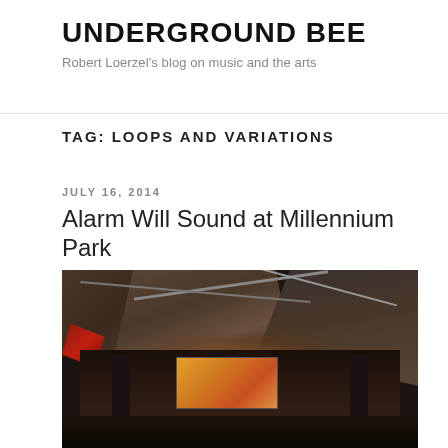UNDERGROUND BEE
Robert Loerzel's blog on music and the arts
TAG: LOOPS AND VARIATIONS
JULY 16, 2014
Alarm Will Sound at Millennium Park
[Figure (photo): Interior view of Millennium Park Pritzker Pavilion with stainless steel panels overhead, trusses, a lit stage with a large screen showing an orange/warm-toned image, sound towers, and audience.]